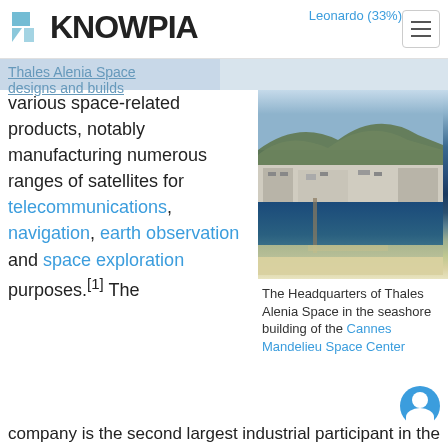KNOWPIA | Leonardo (33%)
Thales Alenia Space designs and builds various space-related products, notably manufacturing numerous ranges of satellites for telecommunications, navigation, earth observation and space exploration purposes.[1] The company is the second largest industrial participant in the International Space Station (ISS), having produced the European Space Agency's (ESA) modules for the ISS. It is also building satellites for Galileo, a European
[Figure (photo): Aerial photograph of the Thales Alenia Space headquarters building along the seashore]
The Headquarters of Thales Alenia Space in the seashore building of the Cannes Mandelieu Space Center